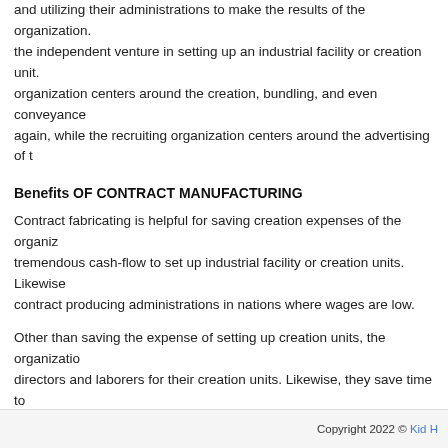and utilizing their administrations to make the results of the organization. the independent venture in setting up an industrial facility or creation unit. organization centers around the creation, bundling, and even conveyance again, while the recruiting organization centers around the advertising of t
Benefits OF CONTRACT MANUFACTURING
Contract fabricating is helpful for saving creation expenses of the organiz tremendous cash-flow to set up industrial facility or creation units. Likewise contract producing administrations in nations where wages are low.
Other than saving the expense of setting up creation units, the organizatio directors and laborers for their creation units. Likewise, they save time to the professional showcasing and selling.
Contract fabricating makes it simple for organizations to present their item even allows them to take the aggressive jump of growing in adjoining nati
Posted in  Uncategorized
Copyright 2022 © Kid H